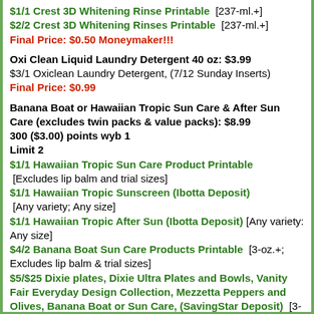$1/1 Crest 3D Whitening Rinse Printable [237-ml.+]
$2/2 Crest 3D Whitening Rinses Printable [237-ml.+]
Final Price: $0.50 Moneymaker!!!
Oxi Clean Liquid Laundry Detergent 40 oz: $3.99
$3/1 Oxiclean Laundry Detergent, (7/12 Sunday Inserts)
Final Price: $0.99
Banana Boat or Hawaiian Tropic Sun Care & After Sun Care (excludes twin packs & value packs): $8.99
300 ($3.00) points wyb 1
Limit 2
$1/1 Hawaiian Tropic Sun Care Product Printable [Excludes lip balm and trial sizes]
$1/1 Hawaiian Tropic Sunscreen (Ibotta Deposit) [Any variety; Any size]
$1/1 Hawaiian Tropic After Sun (Ibotta Deposit) [Any variety: Any size]
$4/2 Banana Boat Sun Care Products Printable [3-oz.+; Excludes lip balm & trial sizes]
$5/$25 Dixie plates, Dixie Ultra Plates and Bowls, Vanity Fair Everyday Design Collection, Mezzetta Peppers and Olives, Banana Boat or Sun Care, (SavingStar Deposit) [3-oz.+; Excludes lip balm & trial size, and Wet Ones wipes.]